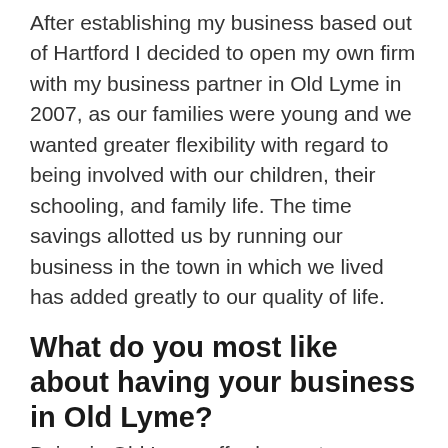After establishing my business based out of Hartford I decided to open my own firm with my business partner in Old Lyme in 2007, as our families were young and we wanted greater flexibility with regard to being involved with our children, their schooling, and family life. The time savings allotted us by running our business in the town in which we lived has added greatly to our quality of life.
What do you most like about having your business in Old Lyme?
Being in Old Lyme affords greater flexibility with regard to seeking a balance between work, home and life. The town offers an attractive locale that is reasonably convenient to larger metropolitan areas and our clientele